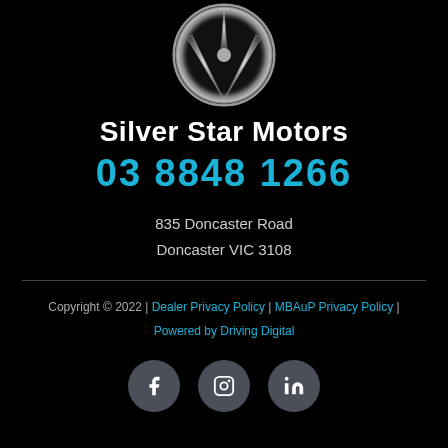[Figure (logo): Mercedes-Benz silver three-pointed star logo on black background]
Silver Star Motors
03 8848 1266
835 Doncaster Road
Doncaster VIC 3108
Copyright © 2022 | Dealer Privacy Policy | MBAuP Privacy Policy | Powered by Driving Digital
[Figure (illustration): Social media icons: Facebook, Instagram, LinkedIn on dark grey circles]